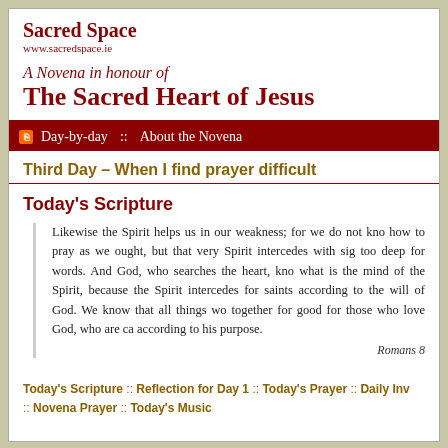Sacred Space
www.sacredspace.ie
A Novena in honour of The Sacred Heart of Jesus
Day-by-day :: About the Novena
Third Day – When I find prayer difficult
Today's Scripture
Likewise the Spirit helps us in our weakness; for we do not know how to pray as we ought, but that very Spirit intercedes with sighs too deep for words. And God, who searches the heart, knows what is the mind of the Spirit, because the Spirit intercedes for the saints according to the will of God. We know that all things work together for good for those who love God, who are called according to his purpose.
Romans 8
Today's Scripture :: Reflection for Day 1 :: Today's Prayer :: Daily Inv... :: Novena Prayer :: Today's Music